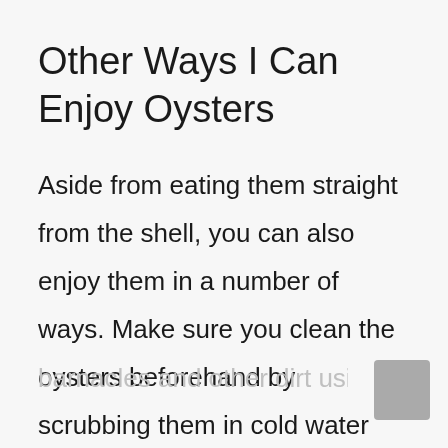Other Ways I Can Enjoy Oysters
Aside from eating them straight from the shell, you can also enjoy them in a number of ways. Make sure you clean the oysters beforehand by scrubbing them in cold water and removing barnacles and other dirt using a